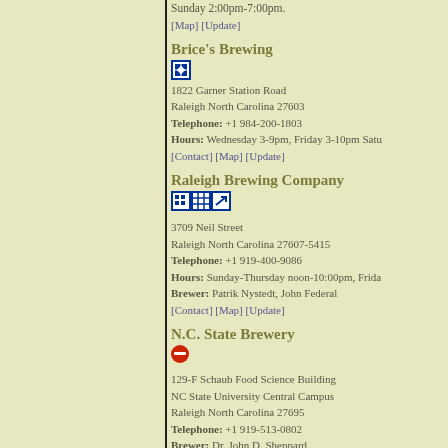Sunday 2:00pm-7:00pm.
[Map] [Update]
Brice's Brewing
1822 Garner Station Road
Raleigh North Carolina 27603
Telephone: +1 984-200-1803
Hours: Wednesday 3-9pm, Friday 3-10pm Satu
[Contact] [Map] [Update]
Raleigh Brewing Company
3709 Neil Street
Raleigh North Carolina 27607-5415
Telephone: +1 919-400-9086
Hours: Sunday-Thursday noon-10:00pm, Frida
Brewer: Patrik Nystedt, John Federal
[Contact] [Map] [Update]
N.C. State Brewery
129-F Schaub Food Science Building
NC State University Central Campus
Raleigh North Carolina 27695
Telephone: +1 919-513-0802
Brewer: Dr. John D. Sheppard
[Contact] [Map] [Update]